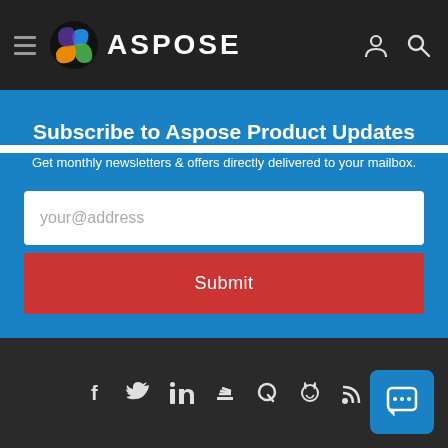ASPOSE
Subscribe to Aspose Product Updates
Get monthly newsletters & offers directly delivered to your mailbox.
your@address
Submit
Social icons: Facebook, Twitter, LinkedIn, Stack Overflow, Quora, GitHub, RSS